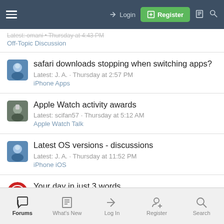Login | Register
safari downloads stopping when switching apps? — Latest: J. A. · Thursday at 2:57 PM — iPhone Apps
Apple Watch activity awards — Latest: scifan57 · Thursday at 5:12 AM — Apple Watch Talk
Latest OS versions - discussions — Latest: J. A. · Thursday at 11:52 PM — iPhone iOS
Your day in just 3 words — Latest: spencerdl · Thursday at 9:31 PM — Off-Topic Discussion
Forums | What's New | Log In | Register | Search